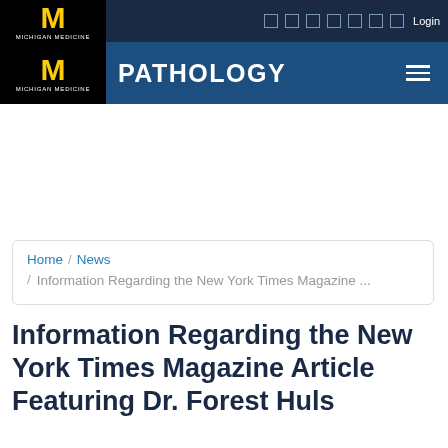Michigan Medicine | PATHOLOGY — Login
[Advertisement / empty space]
Home / News / Information Regarding the New York Times Magazine ...
Information Regarding the New York Times Magazine Article Featuring Dr. Forest Huls